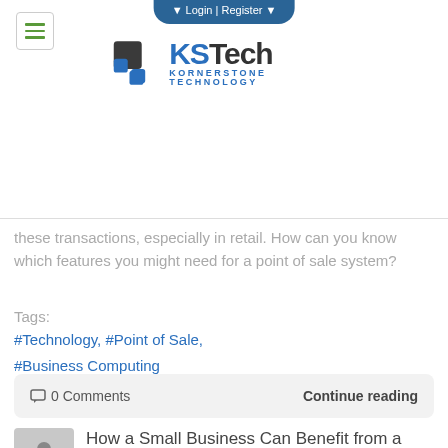Login | Register
[Figure (logo): KSTech Kornerstone Technology logo with dark square icon and blue/dark text]
these transactions, especially in retail. How can you know which features you might need for a point of sale system?
Tags:
#Technology, #Point of Sale,
#Business Computing
0 Comments    Continue reading
How a Small Business Can Benefit from a Customer Relationship